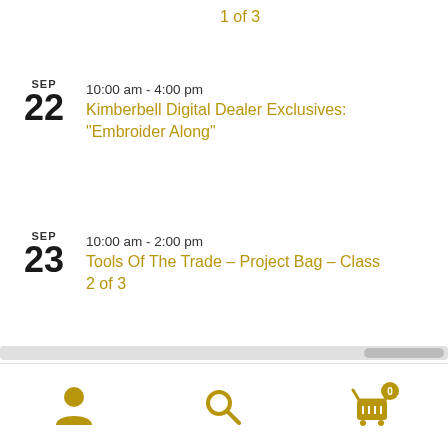1 of 3
SEP 22 | 10:00 am - 4:00 pm | Kimberbell Digital Dealer Exclusives: “Embroider Along”
SEP 23 | 10:00 am - 2:00 pm | Tools Of The Trade – Project Bag – Class 2 of 3
View Calendar
Subscribe To Our Mailing List
User icon | Search icon | Cart icon with badge 0